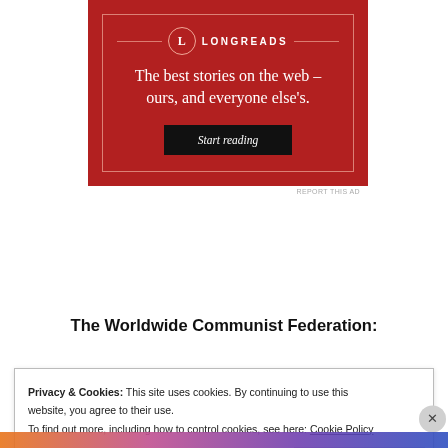[Figure (logo): Longreads advertisement banner with red background. Shows the Longreads logo (circle with L), tagline 'The best stories on the web – ours, and everyone else's.' and a 'Start reading' button.]
REPORT THIS AD
The Worldwide Communist Federation:
Privacy & Cookies: This site uses cookies. By continuing to use this website, you agree to their use.
To find out more, including how to control cookies, see here: Cookie Policy
Close and accept